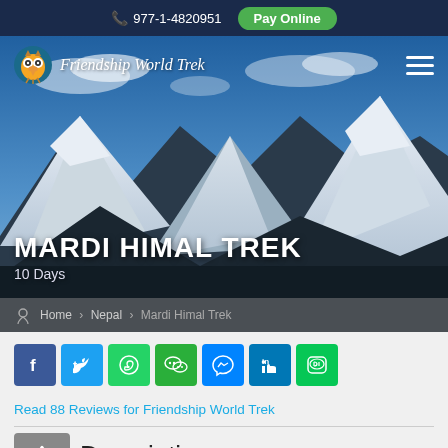977-1-4820951  Pay Online
[Figure (screenshot): Friendship World Trek website header with mountain landscape background showing snow-capped Himalayas, navigation bar with logo and hamburger menu, and MARDI HIMAL TREK title overlay]
Home > Nepal > Mardi Himal Trek
[Figure (other): Social media share buttons: Facebook, Twitter, WhatsApp, WeChat, Messenger, LinkedIn, LINE]
Read 88 Reviews for Friendship World Trek
Description